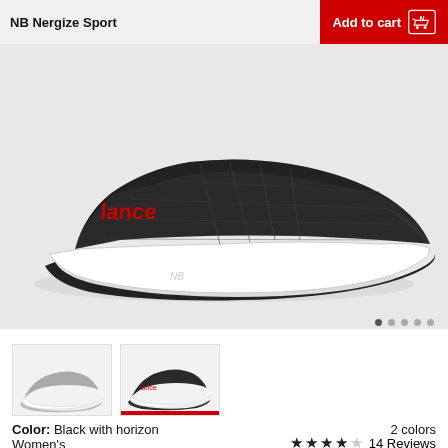NB Nergize Sport
Add to cart
[Figure (photo): Side view of NB Nergize Sport athletic shoe in black with white sole and red branding on upper]
[Figure (photo): Thumbnail of gray NB Nergize Sport shoe]
[Figure (photo): Thumbnail of black NB Nergize Sport shoe (selected, red underline indicator)]
Color: Black with horizon
2 colors
Women's
14 Reviews